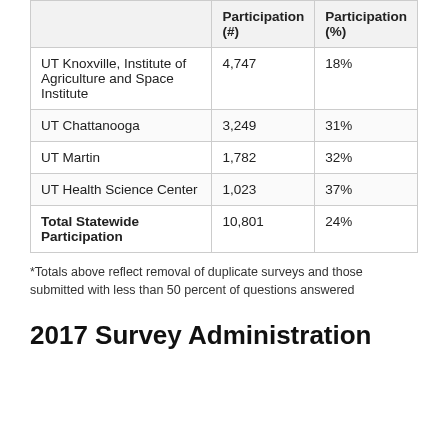|  | Participation (#) | Participation (%) |
| --- | --- | --- |
| UT Knoxville, Institute of Agriculture and Space Institute | 4,747 | 18% |
| UT Chattanooga | 3,249 | 31% |
| UT Martin | 1,782 | 32% |
| UT Health Science Center | 1,023 | 37% |
| Total Statewide Participation | 10,801 | 24% |
*Totals above reflect removal of duplicate surveys and those submitted with less than 50 percent of questions answered
2017 Survey Administration